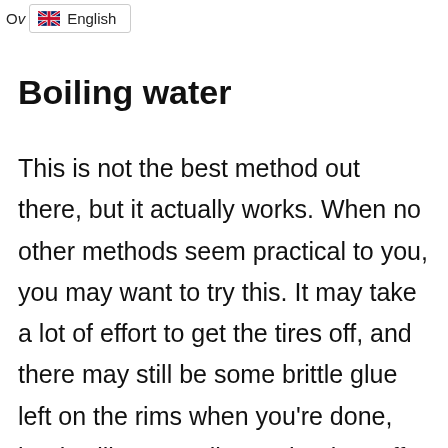Ov English
Boiling water
This is not the best method out there, but it actually works. When no other methods seem practical to you, you may want to try this. It may take a lot of effort to get the tires off, and there may still be some brittle glue left on the rims when you're done, but it will eventually get the tires off even though it may take a lot of